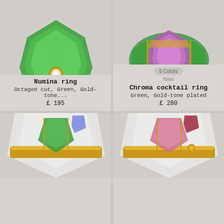[Figure (photo): Green crystal octagon cut ring with gold band and small diamond center, photographed on grey background - Numina ring]
Numina ring
Octagon cut, Green, Gold-tone...
£ 195
[Figure (photo): Green and purple multi-stone cocktail ring with gold band, photographed on grey background - Chroma cocktail ring]
5 Colors
New
Chroma cocktail ring
Green, Gold-tone plated
£ 280
[Figure (photo): Large crystal ring with green gemstone and gold/silver band, bottom left product, partially visible]
[Figure (photo): Large crystal ring with pink/red gemstone and gold band, bottom right product, partially visible]